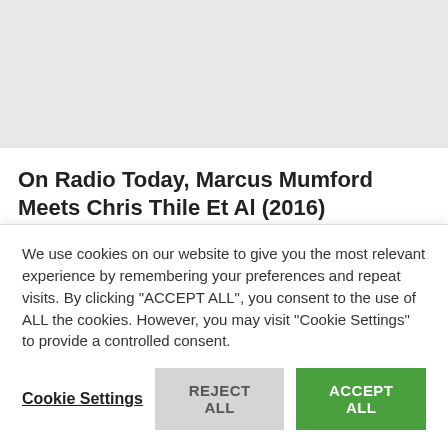[Figure (other): Gray image placeholder area at top of page]
On Radio Today, Marcus Mumford Meets Chris Thile Et Al (2016)
December 3, 2016 - you do not want to miss Marcus Mumford with Chris Thile, Rich Dworsky, Chris Eldridge, Brittany Haas, Paul Kowert and Ted Poor at "Live from
We use cookies on our website to give you the most relevant experience by remembering your preferences and repeat visits. By clicking "ACCEPT ALL", you consent to the use of ALL the cookies. However, you may visit "Cookie Settings" to provide a controlled consent.
Cookie Settings   REJECT ALL   ACCEPT ALL